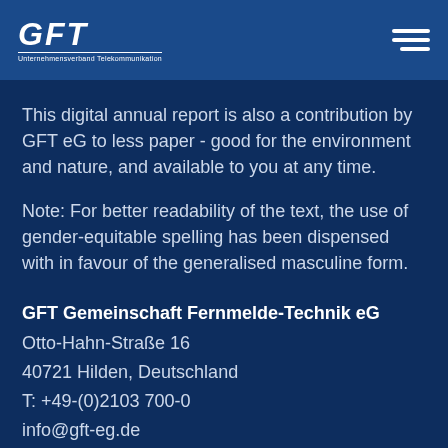GFT Unternehmensverband Telekommunikation
This digital annual report is also a contribution by GFT eG to less paper - good for the environment and nature, and available to you at any time.
Note: For better readability of the text, the use of gender-equitable spelling has been dispensed with in favour of the generalised masculine form.
GFT Gemeinschaft Fernmelde-Technik eG
Otto-Hahn-Straße 16
40721 Hilden, Deutschland
T: +49-(0)2103 700-0
info@gft-eg.de